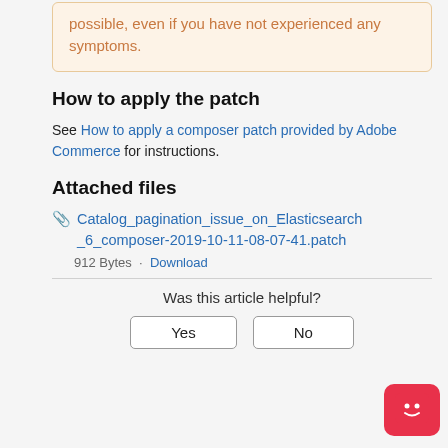possible, even if you have not experienced any symptoms.
How to apply the patch
See How to apply a composer patch provided by Adobe Commerce for instructions.
Attached files
Catalog_pagination_issue_on_Elasticsearch_6_composer-2019-10-11-08-07-41.patch
912 Bytes · Download
Was this article helpful?
Yes
No